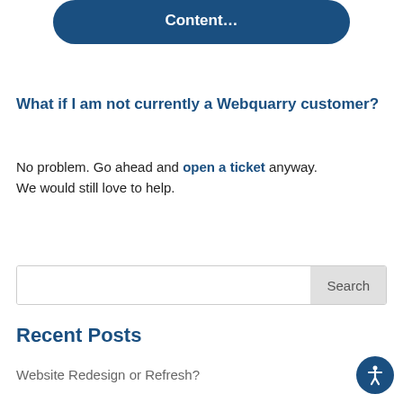[Figure (other): Partially visible dark blue rounded button with white text reading '...help with limited Content...']
What if I am not currently a Webquarry customer?
No problem. Go ahead and open a ticket anyway. We would still love to help.
[Figure (other): Search input field with Search button]
Recent Posts
Website Redesign or Refresh?
Protect WordPress with 2FA (Two-Factor Authentication)
Web Accessibility Remediation